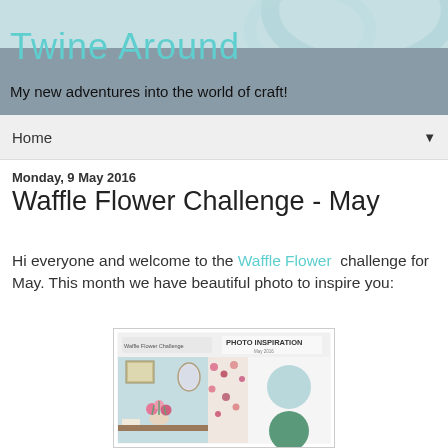Twine Around
My new adventures into the world of craft!
Home ▼
Monday, 9 May 2016
Waffle Flower Challenge - May
Hi everyone and welcome to the Waffle Flower challenge for May. This month we have beautiful photo to inspire you:
[Figure (photo): Waffle Flower Challenge Photo Inspiration for May 2016 showing a room interior with flowers and color swatches in light blue and green]